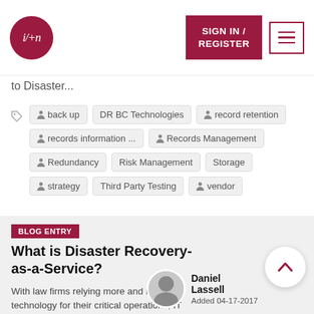i/+n (logo) | SIGN IN / REGISTER | Menu
to Disaster...
back up
DR BC Technologies
record retention
records information ...
Records Management
Redundancy
Risk Management
Storage
strategy
Third Party Testing
vendor
BLOG ENTRY
What is Disaster Recovery-as-a-Service?
With law firms relying more and more on technology for their critical operations, IT systems availability has
Daniel Lassell
Added 04-17-2017